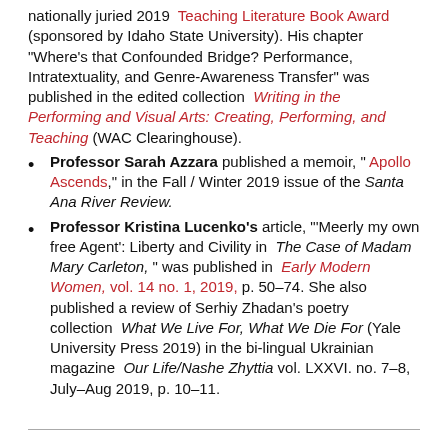nationally juried 2019 Teaching Literature Book Award (sponsored by Idaho State University). His chapter "Where's that Confounded Bridge? Performance, Intratextuality, and Genre-Awareness Transfer" was published in the edited collection Writing in the Performing and Visual Arts: Creating, Performing, and Teaching (WAC Clearinghouse).
Professor Sarah Azzara published a memoir, " Apollo Ascends," in the Fall / Winter 2019 issue of the Santa Ana River Review.
Professor Kristina Lucenko's article, "'Meerly my own free Agent': Liberty and Civility in The Case of Madam Mary Carleton," was published in Early Modern Women, vol. 14 no. 1, 2019, p. 50-74. She also published a review of Serhiy Zhadan's poetry collection What We Live For, What We Die For (Yale University Press 2019) in the bi-lingual Ukrainian magazine Our Life/Nashe Zhyttia vol. LXXVI. no. 7-8, July-Aug 2019, p. 10-11.